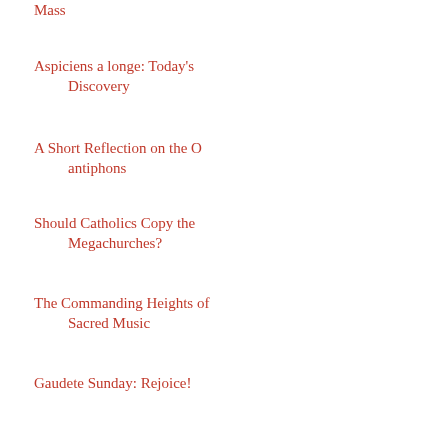Mass
Aspiciens a longe: Today's Discovery
A Short Reflection on the O antiphons
Should Catholics Copy the Megachurches?
The Commanding Heights of Sacred Music
Gaudete Sunday: Rejoice!
Cause of Beatification of Empress Zita Opened
Newman: A Meditation for the Third Sunday of Adve...
Information Day on Anglicanorum Coetibus
Seminarian Opportunity
Gaudete Lessons and Carols...